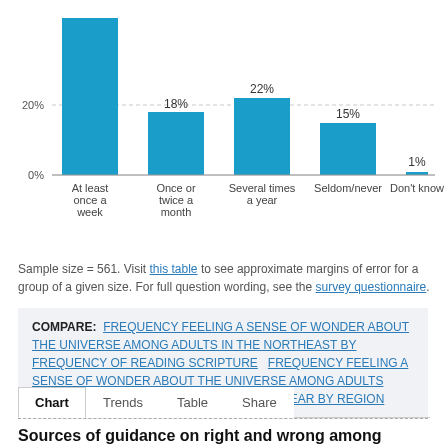[Figure (bar-chart): ]
Sample size = 561. Visit this table to see approximate margins of error for a group of a given size. For full question wording, see the survey questionnaire.
COMPARE: FREQUENCY FEELING A SENSE OF WONDER ABOUT THE UNIVERSE AMONG ADULTS IN THE NORTHEAST BY FREQUENCY OF READING SCRIPTURE  FREQUENCY FEELING A SENSE OF WONDER ABOUT THE UNIVERSE AMONG ADULTS WHO READ SCRIPTURE SEVERAL TIMES A YEAR BY REGION
Chart  Trends  Table  Share
Sources of guidance on right and wrong among